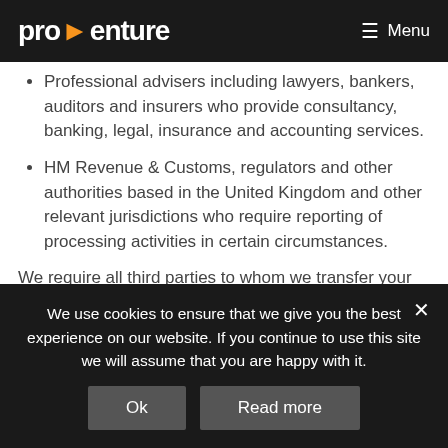pro>enture  Menu
Professional advisers including lawyers, bankers, auditors and insurers who provide consultancy, banking, legal, insurance and accounting services.
HM Revenue & Customs, regulators and other authorities based in the United Kingdom and other relevant jurisdictions who require reporting of processing activities in certain circumstances.
We require all third parties to whom we transfer your
We use cookies to ensure that we give you the best experience on our website. If you continue to use this site we will assume that you are happy with it.